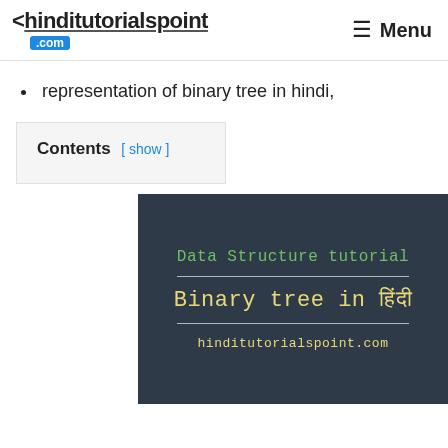<hinditutorialspoint .com  Menu
representation of binary tree in hindi,
Contents [ show ]
[Figure (illustration): Dark blue-grey banner image showing 'Data Structure tutorial' in green monospace text, a horizontal divider, 'Binary tree in हिंदी' in yellow monospace text, another divider, and 'hinditutorialspoint.com' in yellow monospace text at the bottom, on a dark background.]